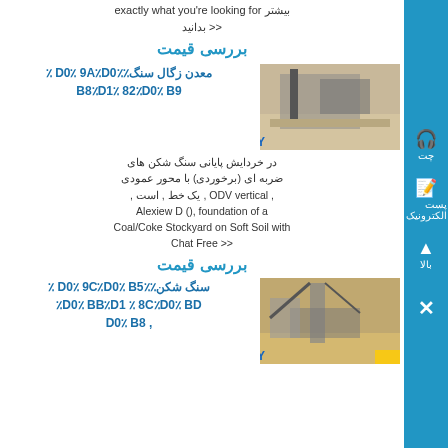exactly what you're looking for بیشتر بدانید <<
بررسی قیمت
معدن زگال سنگ٪D0٪ 9A٪D0٪ ٪ B8٪D1٪ 82٪D0٪ B9
در خردایش پایانی سنگ شکن های ضربه ای (برخوردی) با محور عمودی , ODV vertical , یک خط , است , Alexiew D (), foundation of a Coal/Coke Stockyard on Soft Soil with << Chat Free
بررسی قیمت
سنگ شکن٪D0٪ 9C٪D0٪ B5٪ ٪ D0٪ BB٪D1 ٪ 8C٪D0٪ BD٪ , D0٪ B8
[Figure (photo): Industrial mining/crushing facility with machinery and structures, SKY branded equipment]
[Figure (photo): Industrial mining crane or excavator equipment at a site, SKY branded]